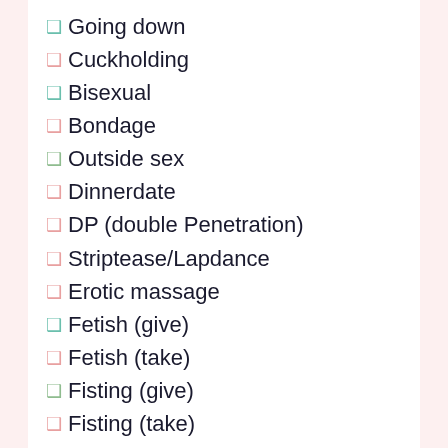Going down
Cuckholding
Bisexual
Bondage
Outside sex
Dinnerdate
DP (double Penetration)
Striptease/Lapdance
Erotic massage
Fetish (give)
Fetish (take)
Fisting (give)
Fisting (take)
Record video / make photo
Gangbang